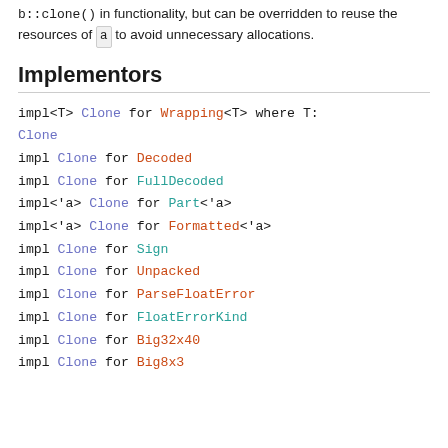b::clone() in functionality, but can be overridden to reuse the resources of a to avoid unnecessary allocations.
Implementors
impl<T> Clone for Wrapping<T> where T: Clone
impl Clone for Decoded
impl Clone for FullDecoded
impl<'a> Clone for Part<'a>
impl<'a> Clone for Formatted<'a>
impl Clone for Sign
impl Clone for Unpacked
impl Clone for ParseFloatError
impl Clone for FloatErrorKind
impl Clone for Big32x40
impl Clone for Big8x3